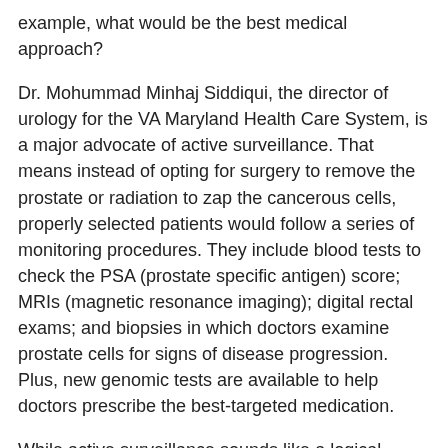example, what would be the best medical approach?
Dr. Mohummad Minhaj Siddiqui, the director of urology for the VA Maryland Health Care System, is a major advocate of active surveillance. That means instead of opting for surgery to remove the prostate or radiation to zap the cancerous cells, properly selected patients would follow a series of monitoring procedures. They include blood tests to check the PSA (prostate specific antigen) score; MRIs (magnetic resonance imaging); digital rectal exams; and biopsies in which doctors examine prostate cells for signs of disease progression. Plus, new genomic tests are available to help doctors prescribe the best-targeted medication.
While active surveillance sounds like a logical approach for men with low-risk prostate cancer, especially given that prostate removal and radiotherapy can lead to urinary, bowel, and sexual dysfunction, convincing patients to buy into it can be a challenge all its own.